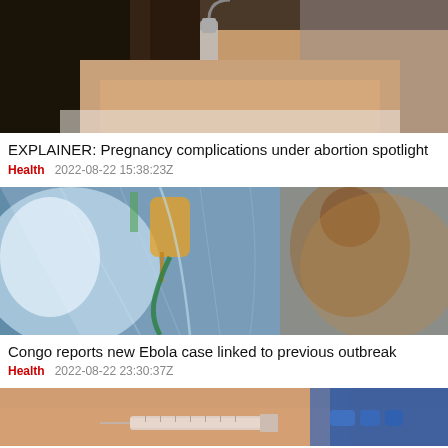[Figure (photo): Close-up of a medical ultrasound being performed on a person's abdomen]
EXPLAINER: Pregnancy complications under abortion spotlight
Health   2022-08-22 15:38:23Z
[Figure (photo): Medical isolation tent with healthcare worker visible through plastic sheeting, with IV tubes and medical equipment]
Congo reports new Ebola case linked to previous outbreak
Health   2022-08-22 23:30:37Z
[Figure (photo): Close-up of a syringe being administered into a person's arm, with blue gloved hand visible]